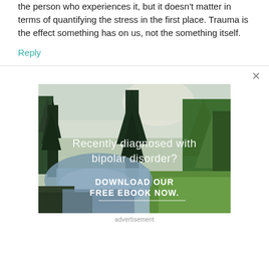the person who experiences it, but it doesn't matter in terms of quantifying the stress in the first place. Trauma is the effect something has on us, not the something itself.
Reply
[Figure (photo): Advertisement banner showing a forest landscape with a river path. Text overlay reads 'Recently diagnosed with bipolar disorder? DOWNLOAD OUR FREE EBOOK NOW.' with a white underline.]
advertisement